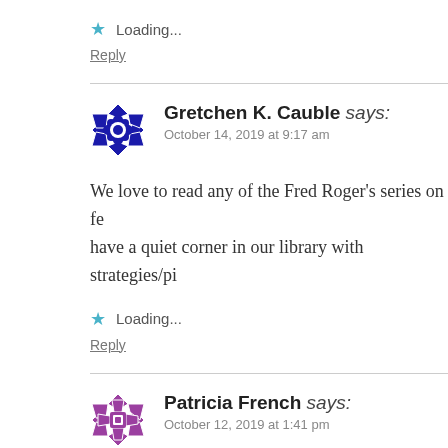Loading...
Reply
Gretchen K. Cauble says:
October 14, 2019 at 9:17 am
We love to read any of the Fred Roger's series on fe… have a quiet corner in our library with strategies/pi…
Loading...
Reply
Patricia French says:
October 12, 2019 at 1:41 pm
I started a anti bullying campaign that gets out in…